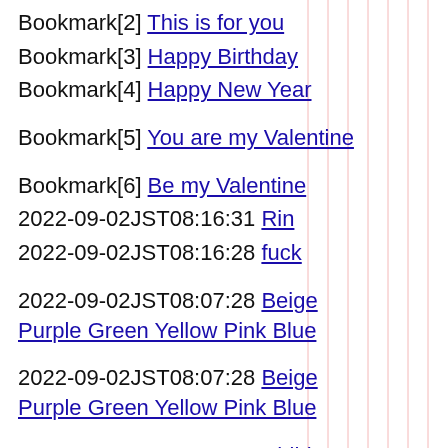Bookmark[2] This is for you
Bookmark[3] Happy Birthday
Bookmark[4] Happy New Year
Bookmark[5] You are my Valentine
Bookmark[6] Be my Valentine
2022-09-02JST08:16:31 Rin
2022-09-02JST08:16:28 fuck
2022-09-02JST08:07:28 Beige Purple Green Yellow Pink Blue
2022-09-02JST08:07:28 Beige Purple Green Yellow Pink Blue
2022-09-02JST08:06:44 Chihiro yasutakol